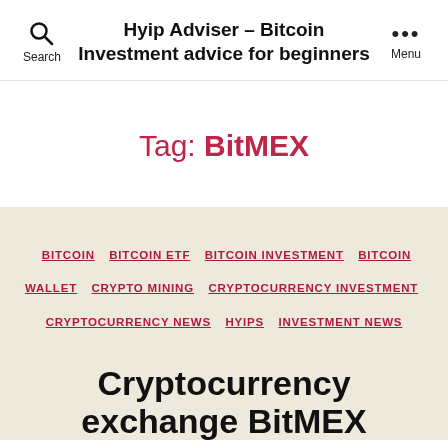Hyip Adviser - Bitcoin Investment advice for beginners
Tag: BitMEX
BITCOIN  BITCOIN ETF  BITCOIN INVESTMENT  BITCOIN WALLET  CRYPTO MINING  CRYPTOCURRENCY INVESTMENT  CRYPTOCURRENCY NEWS  HYIPS  INVESTMENT NEWS
Cryptocurrency exchange BitMEX